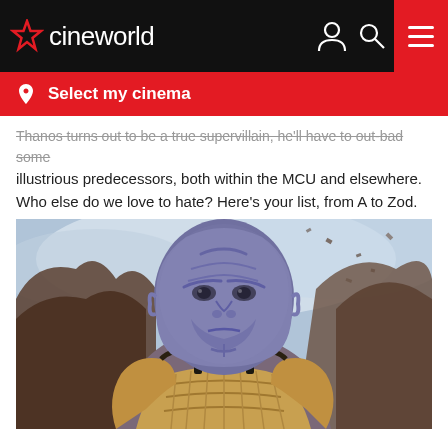cineworld
Select my cinema
Thanos turns out to be a true supervillain, he'll have to out-bad some illustrious predecessors, both within the MCU and elsewhere. Who else do we love to hate? Here's your list, from A to Zod.
[Figure (photo): Close-up movie still of Thanos from Avengers: Infinity War, wearing gold armor, with rocky landscape and debris in background]
Alexander Pierce – Captain America: The Winter Soldier